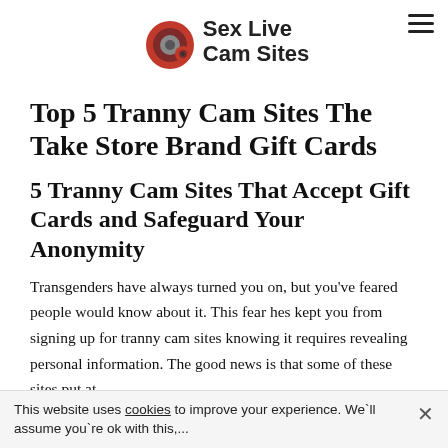Sex Live Cam Sites
Top 5 Tranny Cam Sites The Take Store Brand Gift Cards
5 Tranny Cam Sites That Accept Gift Cards and Safeguard Your Anonymity
Transgenders have always turned you on, but you've feared people would know about it. This fear hes kept you from signing up for tranny cam sites knowing it requires revealing personal information. The good news is that some of these sites put at
This website uses cookies to improve your experience. We'll assume you're ok with this,...